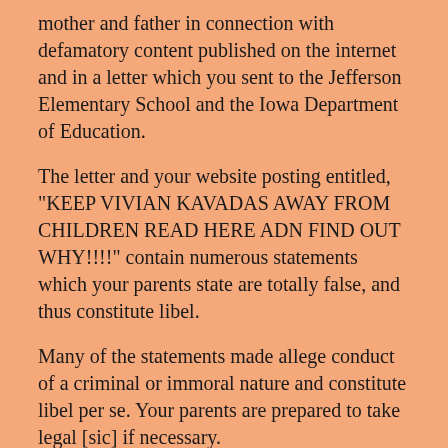mother and father in connection with defamatory content published on the internet and in a letter which you sent to the Jefferson Elementary School and the Iowa Department of Education.
The letter and your website posting entitled, "KEEP VIVIAN KAVADAS AWAY FROM CHILDREN READ HERE ADN FIND OUT WHY!!!!" contain numerous statements which your parents state are totally false, and thus constitute libel.
Many of the statements made allege conduct of a criminal or immoral nature and constitute libel per se. Your parents are prepared to take legal [sic] if necessary.
Demand is hereby made on behalf of your parents as follows: (1) That you immediately remove the publication alleging abusive conduct from your website; (2) that you retract the